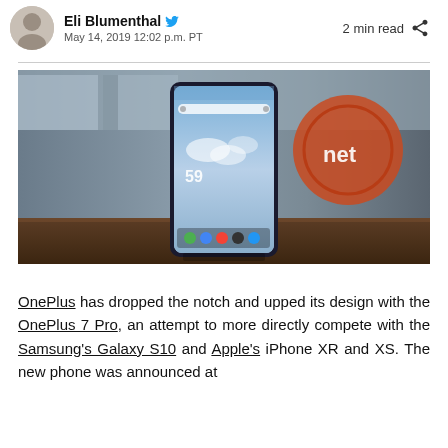Eli Blumenthal · May 14, 2019 12:02 p.m. PT · 2 min read
[Figure (photo): A OnePlus 7 Pro smartphone standing upright on a brown table surface in front of a blurred retail store background with an orange circular logo. The phone displays a home screen with widgets showing the time 59 and a blue sky wallpaper.]
OnePlus has dropped the notch and upped its design with the OnePlus 7 Pro, an attempt to more directly compete with the Samsung's Galaxy S10 and Apple's iPhone XR and XS. The new phone was announced at